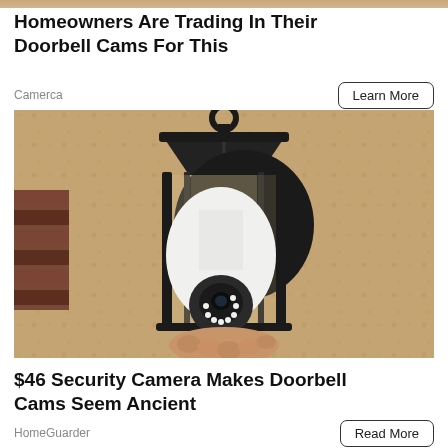Homeowners Are Trading In Their Doorbell Cams For This
Camerca
Learn More
[Figure (photo): A black outdoor wall lantern fixture with a white smart security camera bulb installed inside it, being held by a hand. The lantern is mounted on a stucco wall.]
$46 Security Camera Makes Doorbell Cams Seem Ancient
HomeGuarder
Read More